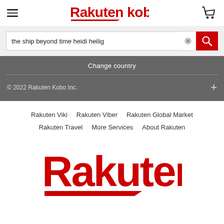[Figure (logo): Rakuten Kobo header with hamburger menu, Rakuten Kobo logo in red, and shopping cart icon]
[Figure (screenshot): Search bar with text 'the ship beyond time heidi heilig', clear button (x), and red search button]
Change country
© 2022 Rakuten Kobo Inc.
Rakuten Viki   Rakuten Viber   Rakuten Global Market   Rakuten Travel   More Services   About Rakuten
[Figure (logo): Large Rakuten logo in red with red underline accent]